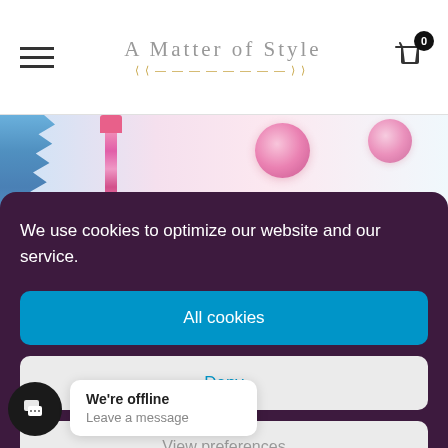A Matter of Style
[Figure (photo): Decorative party supplies — blue fringe, pink tassels, and pink pom poms hanging against a light background]
We use cookies to optimize our website and our service.
All cookies
Deny
We're offline
Leave a message